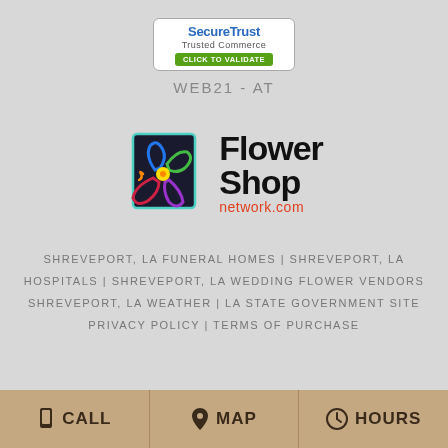[Figure (logo): SecureTrust Trusted Commerce badge with 'CLICK TO VALIDATE' green button]
WEB21-AT
[Figure (logo): Flower Shop Network.com logo with colorful flower icon]
SHREVEPORT, LA FUNERAL HOMES | SHREVEPORT, LA HOSPITALS | SHREVEPORT, LA WEDDING FLOWER VENDORS SHREVEPORT, LA WEATHER | LA STATE GOVERNMENT SITE PRIVACY POLICY | TERMS OF PURCHASE
CALL | MAP | HOURS